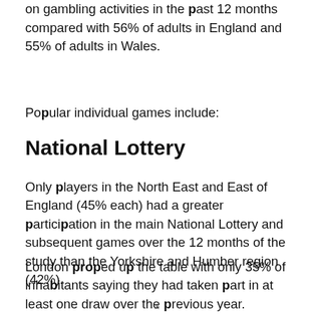on gambling activities in the past 12 months compared with 56% of adults in England and 55% of adults in Wales.
Popular individual games include:
National Lottery
Only players in the North East and East of England (45% each) had a greater participation in the main National Lottery and subsequent games over the 12 months of the study than the Yorkshire and Humber region (42%).
London propped up the table with only 35% of inhabitants saying they had taken part in at least one draw over the previous year.
x